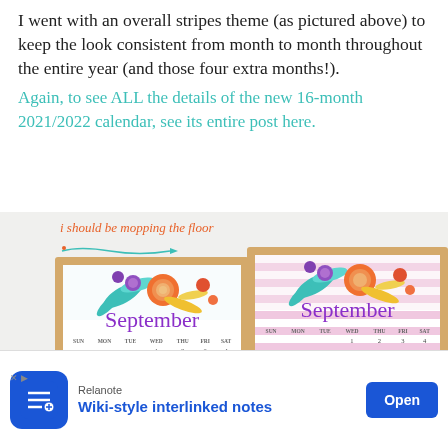I went with an overall stripes theme (as pictured above) to keep the look consistent from month to month throughout the entire year (and those four extra months!).
Again, to see ALL the details of the new 16-month 2021/2022 calendar, see its entire post here.
[Figure (photo): Two framed September 2021 calendar prints side by side. Left calendar has white background with floral top decoration and 'September' in purple script. Right calendar has pink and white horizontal stripes with floral top decoration and 'September' in purple script. Blog logo 'i should be mopping the floor' with arrow shown above.]
[Figure (screenshot): Advertisement banner for Relanote app: 'Wiki-style interlinked notes' with blue app icon and Open button.]